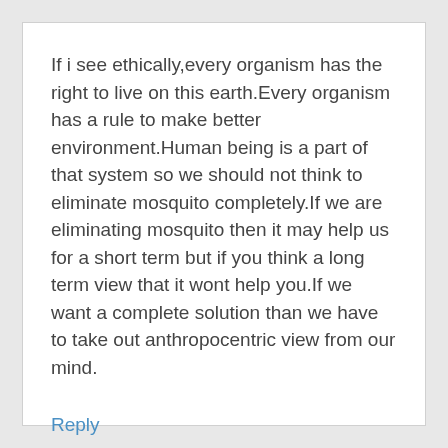If i see ethically,every organism has the right to live on this earth.Every organism has a rule to make better environment.Human being is a part of that system so we should not think to eliminate mosquito completely.If we are eliminating mosquito then it may help us for a short term but if you think a long term view that it wont help you.If we want a complete solution than we have to take out anthropocentric view from our mind.
Reply